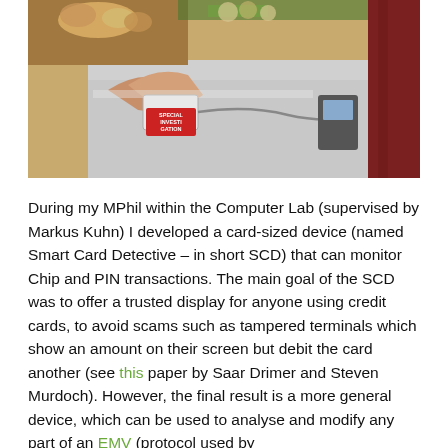[Figure (photo): A person holding a card-sized device connected by a wire to a payment terminal on a counter. A red overlay label reads 'SPECIAL INVESTIGATION'. Groceries visible in the background.]
During my MPhil within the Computer Lab (supervised by Markus Kuhn) I developed a card-sized device (named Smart Card Detective – in short SCD) that can monitor Chip and PIN transactions. The main goal of the SCD was to offer a trusted display for anyone using credit cards, to avoid scams such as tampered terminals which show an amount on their screen but debit the card another (see this paper by Saar Drimer and Steven Murdoch). However, the final result is a more general device, which can be used to analyse and modify any part of an EMV (protocol used by